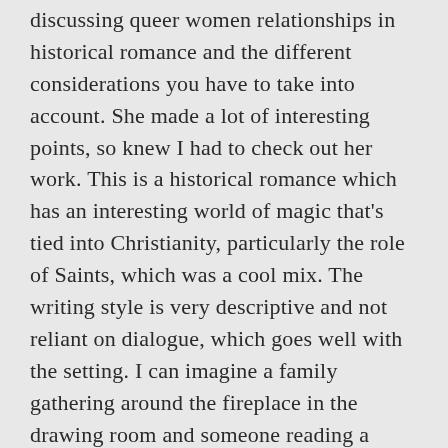discussing queer women relationships in historical romance and the different considerations you have to take into account. She made a lot of interesting points, so knew I had to check out her work. This is a historical romance which has an interesting world of magic that's tied into Christianity, particularly the role of Saints, which was a cool mix. The writing style is very descriptive and not reliant on dialogue, which goes well with the setting. I can imagine a family gathering around the fireplace in the drawing room and someone reading a chapter aloud for the after-dinner entertainment. The romance aspect is a pretty slow burn and not of the steamy sort. There is plenty of political and personal intrigue here too, not least of which is one of our heroines having a mysterious past she doesn't know. This is one in a series, and I think I'll check out the rest when I get a chance.